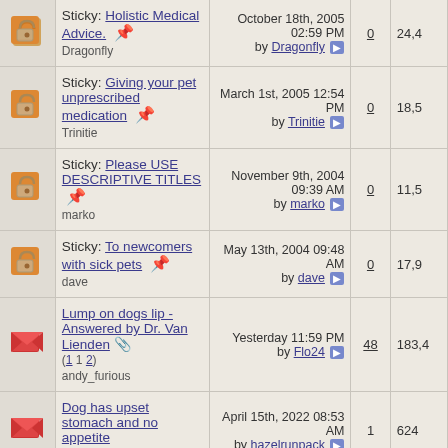| icon | topic | last post | replies | views |
| --- | --- | --- | --- | --- |
| [lock] | Sticky: Holistic Medical Advice.
Dragonfly | October 18th, 2005 02:59 PM
by Dragonfly | 0 | 24,4... |
| [lock] | Sticky: Giving your pet unprescribed medication
Trinitie | March 1st, 2005 12:54 PM
by Trinitie | 0 | 18,5... |
| [lock] | Sticky: Please USE DESCRIPTIVE TITLES
marko | November 9th, 2004 09:39 AM
by marko | 0 | 11,5... |
| [lock] | Sticky: To newcomers with sick pets
dave | May 13th, 2004 09:48 AM
by dave | 0 | 17,9... |
| [envelope] | Lump on dogs lip - Answered by Dr. Van Lienden (1 2)
andy_furious | Yesterday 11:59 PM
by Flo24 | 48 | 183,4... |
| [envelope] | Dog has upset stomach and no appetite
LindaV | April 15th, 2022 08:53 AM
by hazelrunpack | 1 | 624... |